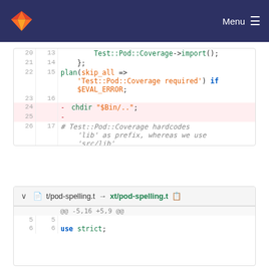GitLab — Menu
[Figure (screenshot): Code diff view showing Perl test file changes. Lines 20-28 with line numbers, syntax highlighting. Lines 24-25 are deleted (pink background). Comments show Test::Pod::Coverage hardcodes 'lib' prefix.]
t/pod-spelling.t → xt/pod-spelling.t
[Figure (screenshot): Second diff block for t/pod-spelling.t → xt/pod-spelling.t, showing @@ -5,16 +5,9 @@ hunk header, lines 5 and 6 with 'use strict;']